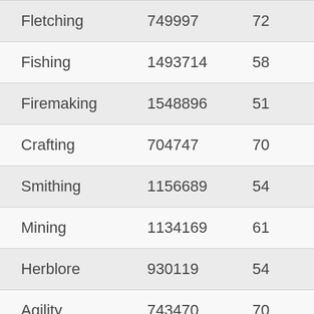| Skill | XP | Level | Rank |
| --- | --- | --- | --- |
| Fletching | 749997 | 72 | 89… |
| Fishing | 1493714 | 58 | 24… |
| Firemaking | 1548896 | 51 | 12… |
| Crafting | 704747 | 70 | 76… |
| Smithing | 1156689 | 54 | 15… |
| Mining | 1134169 | 61 | 31… |
| Herblore | 930119 | 54 | 16… |
| Agility | 743470 | 70 | 74… |
| Thieving | 1040724 | 53 | 14… |